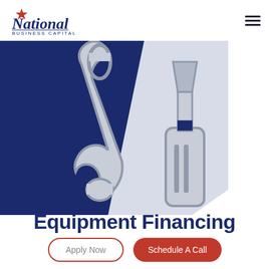[Figure (logo): National Business Capital logo with star icon and text]
[Figure (illustration): Hero banner with dark navy blue diagonal background and large grey wrench and screwdriver icons on white/light background]
Equipment Financing
Apply Now
Schedule A Call